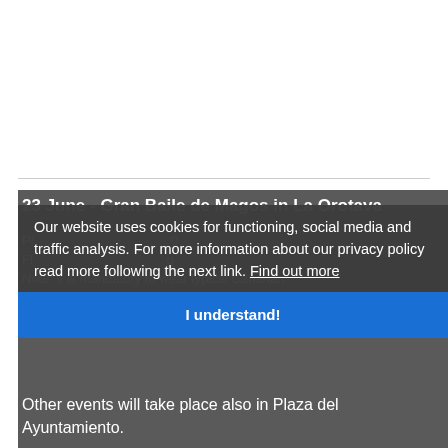[Figure (photo): White empty area at top of page (image placeholder or blank content area)]
23 June - Gran Baile de Magos in La Orotava
Pl... (partially obscured) ...0
Fl... (partially obscured) ...g
Note: it is mandatory to wear typical Canarian costumes in order to participate.
Our website uses cookies for functioning, social media and traffic analysis. For more information about our privacy policy read more following the next link. Find out more
I understand!
Other events will take place also in Plaza del Ayuntamiento.